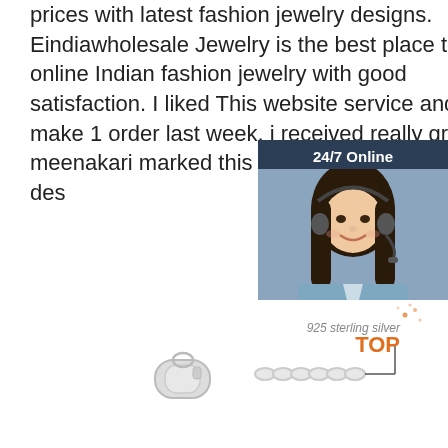prices with latest fashion jewelry designs. Eindiawholesale Jewelry is the best place to buy online Indian fashion jewelry with good satisfaction. I liked This website service and make 1 order last week, i received really great meenakari marked this website for check latest des
[Figure (infographic): Chat widget with 24/7 Online header, photo of smiling woman with headset, 'Click here for free chat!' text, and orange QUOTATION button]
Get Price
[Figure (photo): Silver chain bracelet clasp detail with '925 sterling silver TOP' label and pointer arrow]